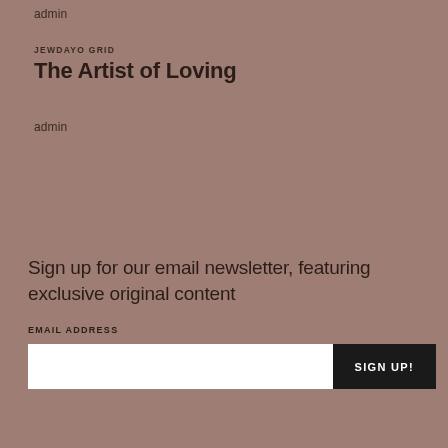admin
JEWDAYO GRID
The Artist of Loving
admin
Sign up for our email newsletter, featuring exclusive original content
EMAIL ADDRESS
SIGN UP!